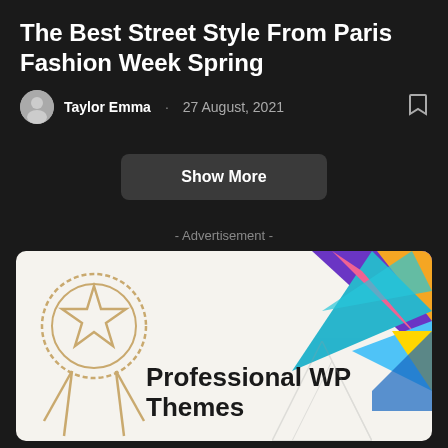The Best Street Style From Paris Fashion Week Spring
Taylor Emma · 27 August, 2021
Show More
- Advertisement -
[Figure (illustration): Advertisement banner with light beige background, colorful geometric triangles in the top-right corner (purple, orange, pink, blue, teal, yellow), a gold/tan award ribbon icon on the left, and bold text reading 'Professional WP Themes']